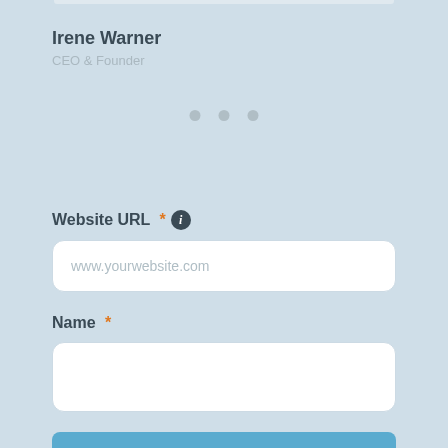Irene Warner
CEO & Founder
Website URL * (info)
www.yourwebsite.com
Name *
Email *